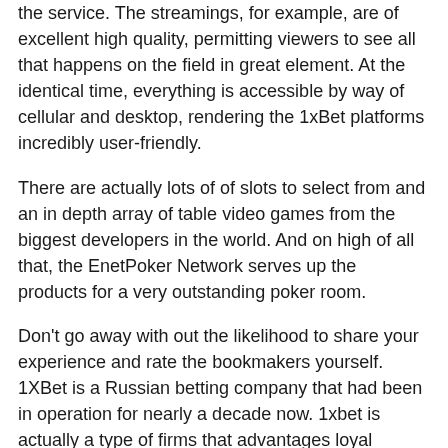the service. The streamings, for example, are of excellent high quality, permitting viewers to see all that happens on the field in great element. At the identical time, everything is accessible by way of cellular and desktop, rendering the 1xBet platforms incredibly user-friendly.
There are actually lots of of slots to select from and an in depth array of table video games from the biggest developers in the world. And on high of all that, the EnetPoker Network serves up the products for a very outstanding poker room.
Don't go away with out the likelihood to share your experience and rate the bookmakers yourself. 1XBet is a Russian betting company that had been in operation for nearly a decade now. 1xbet is actually a type of firms that advantages loyal players larger than another. Now we swap on to one of the most important options of this text, the 1XBET bonus code.